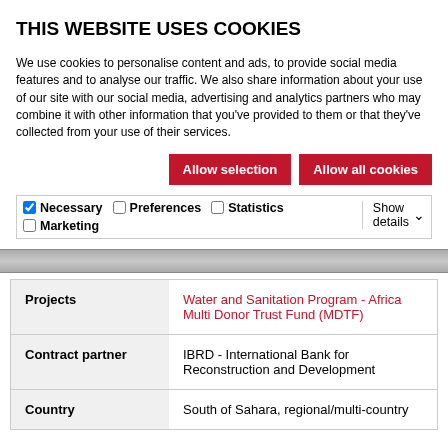THIS WEBSITE USES COOKIES
We use cookies to personalise content and ads, to provide social media features and to analyse our traffic. We also share information about your use of our site with our social media, advertising and analytics partners who may combine it with other information that you've provided to them or that they've collected from your use of their services.
Allow selection | Allow all cookies
Necessary | Preferences | Statistics | Marketing | Show details
|  |  |
| --- | --- |
| Projects | Water and Sanitation Program - Africa Multi Donor Trust Fund (MDTF) |
| Contract partner | IBRD - International Bank for Reconstruction and Development |
| Country | South of Sahara, regional/multi-country |